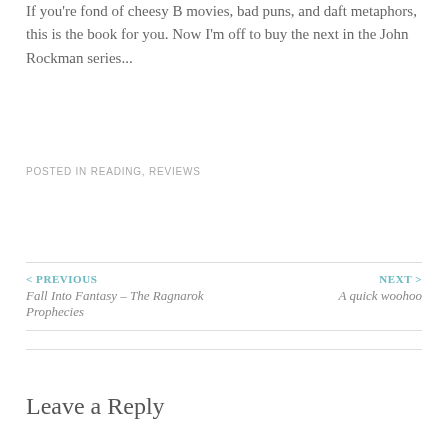If you're fond of cheesy B movies, bad puns, and daft metaphors, this is the book for you. Now I'm off to buy the next in the John Rockman series...
POSTED IN READING, REVIEWS
< PREVIOUS Fall Into Fantasy – The Ragnarok Prophecies
NEXT > A quick woohoo
Leave a Reply